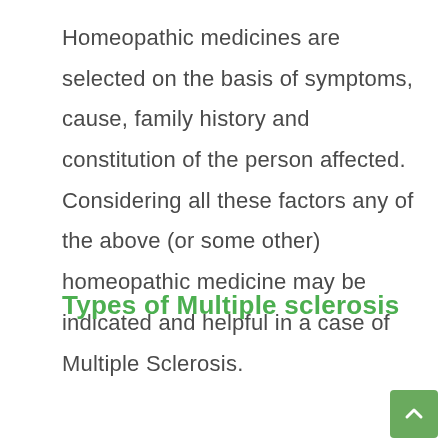Homeopathic medicines are selected on the basis of symptoms, cause, family history and constitution of the person affected. Considering all these factors any of the above (or some other) homeopathic medicine may be indicated and helpful in a case of Multiple Sclerosis.
Types of Multiple sclerosis